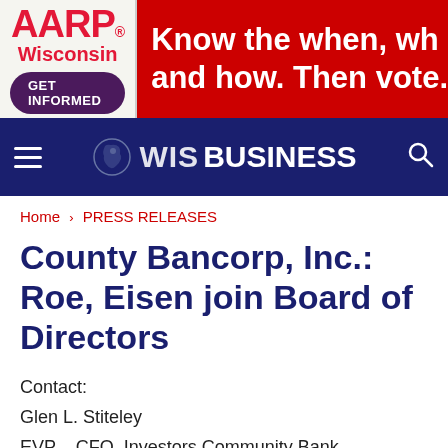[Figure (other): AARP Wisconsin 'GET INFORMED' advertisement banner with red 'Know the when, who and how. Then vote.' text on red background]
WIS BUSINESS navigation bar with hamburger menu and search icon
Home › PRESS RELEASES
County Bancorp, Inc.: Roe, Eisen join Board of Directors
Contact:
Glen L. Stiteley
EVP – CFO, Investors Community Bank
Phone: (920) 686-5658